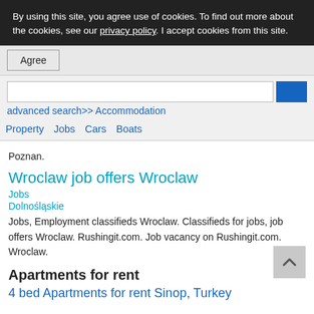By using this site, you agree use of cookies. To find out more about the cookies, see our privacy policy. I accept cookies from this site.
Agree
advanced search>> Accommodation
Property  Jobs  Cars  Boats
Poznan.
Wroclaw job offers Wroclaw
Jobs
Dolnośląskie
Jobs, Employment classifieds Wroclaw. Classifieds for jobs, job offers Wroclaw. Rushingit.com. Job vacancy on Rushingit.com. Wroclaw.
Apartments for rent
4 bed Apartments for rent Sinop, Turkey